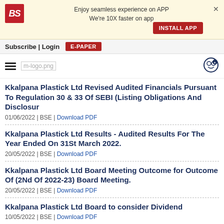[Figure (screenshot): Business Standard app advertisement banner with BS logo, text 'Enjoy seamless experience on APP We're 10X faster on app', INSTALL APP button, and close X]
Subscribe | Login  E-PAPER
[Figure (logo): Navigation bar with hamburger menu, m-logo.png, and notification icon]
Kkalpana Plastick Ltd Revised Audited Financials Pursuant To Regulation 30 & 33 Of SEBI (Listing Obligations And Disclosur
01/06/2022 | BSE | Download PDF
Kkalpana Plastick Ltd Results - Audited Results For The Year Ended On 31St March 2022.
20/05/2022 | BSE | Download PDF
Kkalpana Plastick Ltd Board Meeting Outcome for Outcome Of (2Nd Of 2022-23) Board Meeting.
20/05/2022 | BSE | Download PDF
Kkalpana Plastick Ltd Board to consider Dividend
10/05/2022 | BSE | Download PDF
Kkalpana Plastick Ltd Board Meeting Outcome for...